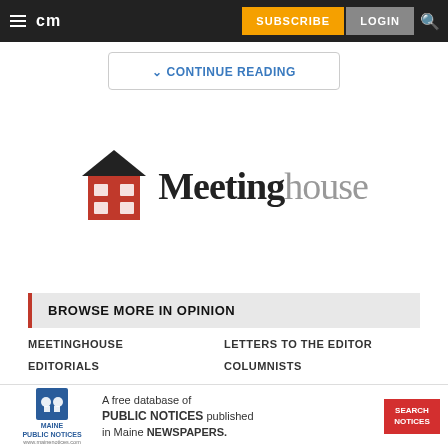cm | SUBSCRIBE | LOGIN
CONTINUE READING
[Figure (logo): Meetinghouse logo with red house icon and serif/sans-serif text]
BROWSE MORE IN OPINION
MEETINGHOUSE
EDITORIALS
LETTERS TO THE EDITOR
COLUMNISTS
[Figure (infographic): Maine Public Notices advertisement: A free database of PUBLIC NOTICES published in Maine NEWSPAPERS. SEARCH NOTICES button.]